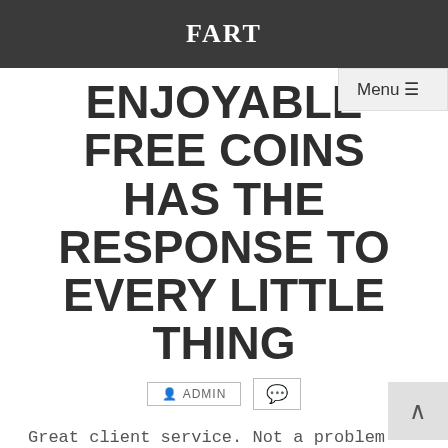FART
ENJOYABLE FREE COINS HAS THE RESPONSE TO EVERY LITTLE THING
ADMIN
Great client service. Not a problem with transporting or even buying out the free gift of the month. Terrific free coins for house of fun savings. The initial 10 presents may be as